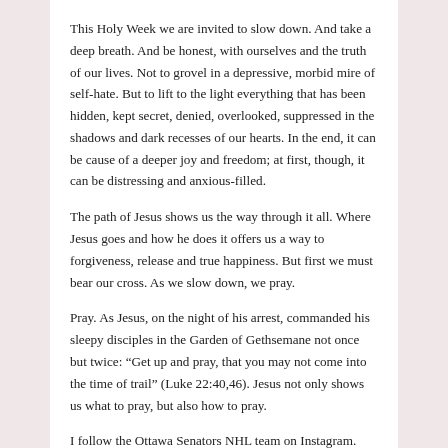This Holy Week we are invited to slow down. And take a deep breath. And be honest, with ourselves and the truth of our lives. Not to grovel in a depressive, morbid mire of self-hate. But to lift to the light everything that has been hidden, kept secret, denied, overlooked, suppressed in the shadows and dark recesses of our hearts. In the end, it can be cause of a deeper joy and freedom; at first, though, it can be distressing and anxious-filled.
The path of Jesus shows us the way through it all. Where Jesus goes and how he does it offers us a way to forgiveness, release and true happiness. But first we must bear our cross. As we slow down, we pray.
Pray. As Jesus, on the night of his arrest, commanded his sleepy disciples in the Garden of Gethsemane not once but twice: “Get up and pray, that you may not come into the time of trail” (Luke 22:40,46). Jesus not only shows us what to pray, but also how to pray.
I follow the Ottawa Senators NHL team on Instagram. And